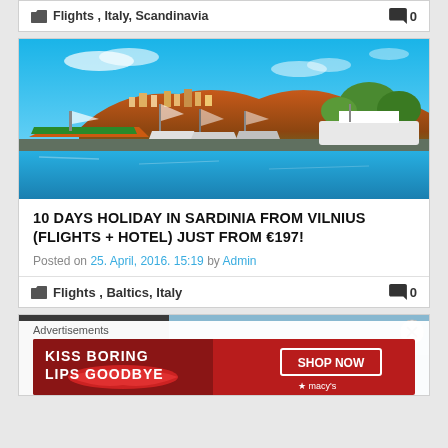Flights , Italy, Scandinavia  0
[Figure (photo): Harbor scene with colorful boats moored in blue water, with a hillside town and mountains in the background under a blue sky.]
10 DAYS HOLIDAY IN SARDINIA FROM VILNIUS (FLIGHTS + HOTEL) JUST FROM €197!
Posted on 25. April, 2016. 15:19 by Admin
Flights , Baltics, Italy  0
[Figure (photo): Partial view of another article image at the bottom, partially obscured by advertisement overlay.]
Advertisements
[Figure (photo): Macy's advertisement banner: 'KISS BORING LIPS GOODBYE' with SHOP NOW button and Macy's star logo, featuring a woman's lips.]